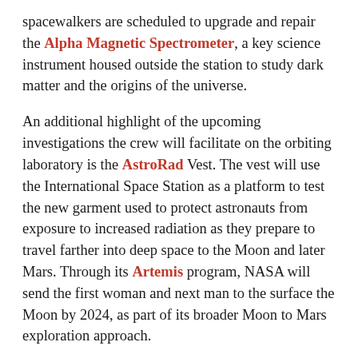spacewalkers are scheduled to upgrade and repair the Alpha Magnetic Spectrometer, a key science instrument housed outside the station to study dark matter and the origins of the universe.
An additional highlight of the upcoming investigations the crew will facilitate on the orbiting laboratory is the AstroRad Vest. The vest will use the International Space Station as a platform to test the new garment used to protect astronauts from exposure to increased radiation as they prepare to travel farther into deep space to the Moon and later Mars. Through its Artemis program, NASA will send the first woman and next man to the surface the Moon by 2024, as part of its broader Moon to Mars exploration approach.
A global endeavor, more than 230 people from 18 countries have visited the International Space Station, which has hosted more than 2,500 research investigations from researchers in 106 countries.
Follow @Astro...